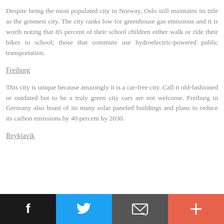Despite being the most populated city in Norway, Oslo still maintains its title as the greenest city. The city ranks low for greenhouse gas emissions and it is worth noting that 85 percent of their school children either walk or ride their bikes to school; those that commute use hydroelectric-powered public transportation.
Freiburg
This city is unique because amazingly it is a car-free city. Call it old-fashioned or outdated but to be a truly green city cars are not welcome. Freiburg in Germany also boast of its many solar paneled buildings and plans to reduce its carbon emissions by 40 percent by 2030.
Reykjavik